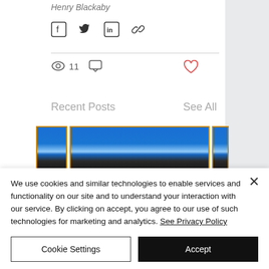Henry Blackaby
[Figure (screenshot): Social share icons row: Facebook, Twitter, LinkedIn, link/chain icons]
[Figure (screenshot): View count (11), comment icon, and heart/like icon (red outline)]
Recent Posts
See All
[Figure (screenshot): Row of three blog post thumbnail images with orange borders, showing blue and dark gradient banners]
We use cookies and similar technologies to enable services and functionality on our site and to understand your interaction with our service. By clicking on accept, you agree to our use of such technologies for marketing and analytics. See Privacy Policy
Cookie Settings
Accept